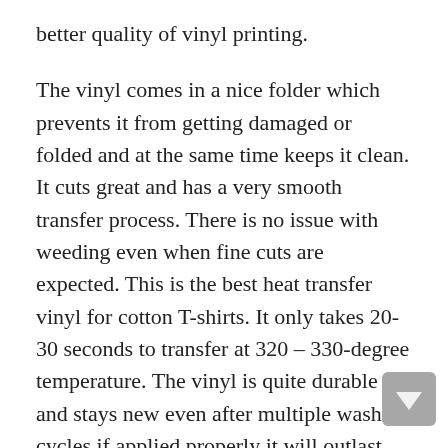better quality of vinyl printing.
The vinyl comes in a nice folder which prevents it from getting damaged or folded and at the same time keeps it clean. It cuts great and has a very smooth transfer process. There is no issue with weeding even when fine cuts are expected. This is the best heat transfer vinyl for cotton T-shirts. It only takes 20-30 seconds to transfer at 320 – 330-degree temperature. The vinyl is quite durable and stays new even after multiple wash cycles if applied properly it will outlast the fabric itself.
Because it's slightly thin it cuts well on the Cricut and the silhouette ( use setting 5 for depth, 8 for speed, and 7 for thickness). The only thing that you need to take care of is that needs to be